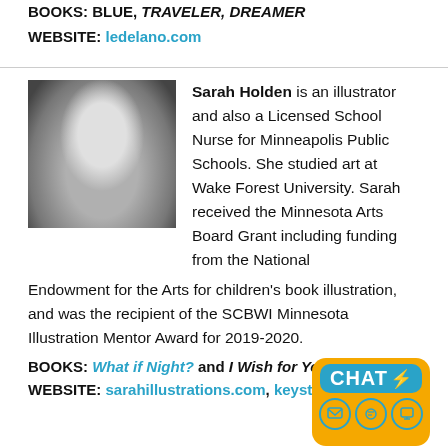BOOKS: BLUE, TRAVELER, DREAMER
WEBSITE: ledelano.com
[Figure (photo): Black and white photo of Sarah Holden smiling and holding a small white animal (rabbit or guinea pig)]
Sarah Holden is an illustrator and also a Licensed School Nurse for Minneapolis Public Schools. She studied art at Wake Forest University. Sarah received the Minnesota Arts Board Grant including funding from the National Endowment for the Arts for children's book illustration, and was the recipient of the SCBWI Minnesota Illustration Mentor Award for 2019-2020.
BOOKS: What if Night? and I Wish for You, L...
WEBSITE: sarahillustrations.com, keystone...
[Figure (logo): CHAT badge — yellow/orange rounded rectangle with a teal CHAT label and lightning bolt, plus three circular icons below]